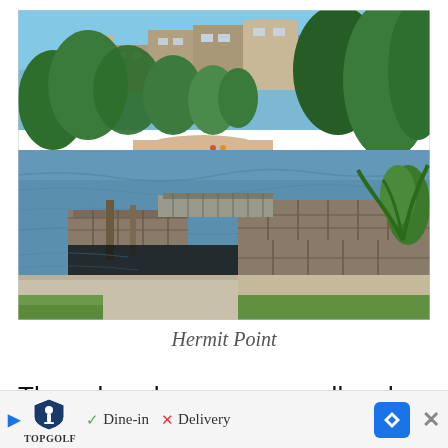[Figure (photo): Outdoor photo of Hermit Point showing a waterway with stone retaining walls and a dock/jetty structure in the foreground, a sandy beach across the water, lush green trees and vegetation, and residential buildings visible on the hillside in the background under a blue sky.]
Hermit Point
These beaches are so small and se... I've